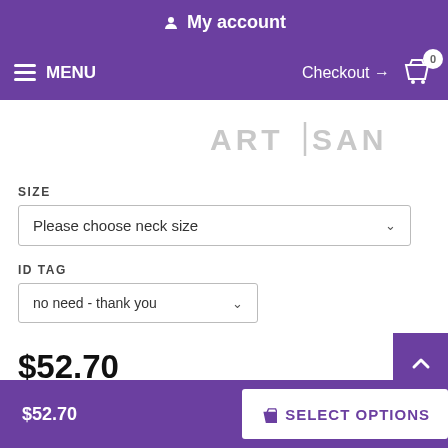My account
MENU  Checkout → 0
[Figure (logo): ARTISAN brand logo in grey text with vertical divider line]
SIZE
Please choose neck size
ID TAG
no need - thank you
$52.70
$52.70  SELECT OPTIONS